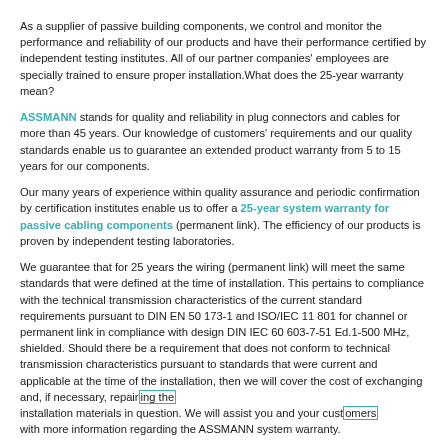As a supplier of passive building components, we control and monitor the performance and reliability of our products and have their performance certified by independent testing institutes. All of our partner companies' employees are specially trained to ensure proper installation.What does the 25-year warranty mean?
ASSMANN stands for quality and reliability in plug connectors and cables for more than 45 years. Our knowledge of customers' requirements and our quality standards enable us to guarantee an extended product warranty from 5 to 15 years for our components.
Our many years of experience within quality assurance and periodic confirmation by certification institutes enable us to offer a 25-year system warranty for passive cabling components (permanent link). The efficiency of our products is proven by independent testing laboratories.
We guarantee that for 25 years the wiring (permanent link) will meet the same standards that were defined at the time of installation. This pertains to compliance with the technical transmission characteristics of the current standard requirements pursuant to DIN EN 50 173-1 and ISO/IEC 11 801 for channel or permanent link in compliance with design DIN IEC 60 603-7-51 Ed.1-500 MHz, shielded. Should there be a requirement that does not conform to technical transmission characteristics pursuant to standards that were current and applicable at the time of the installation, then we will cover the cost of exchanging and, if necessary, repairing the installation materials in question. We will assist you and your customers with more information regarding the ASSMANN system warranty.